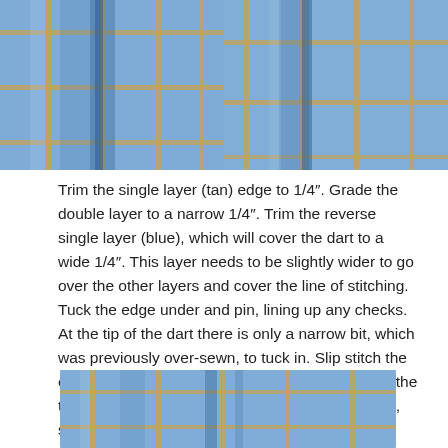[Figure (photo): Two side-by-side photos of blue and tan plaid/checked fabric showing dart seam construction details from above]
Trim the single layer (tan) edge to 1/4″. Grade the double layer to a narrow 1/4″. Trim the reverse single layer (blue), which will cover the dart to a wide 1/4″. This layer needs to be slightly wider to go over the other layers and cover the line of stitching. Tuck the edge under and pin, lining up any checks. At the tip of the dart there is only a narrow bit, which was previously over-sewn, to tuck in. Slip stitch the edge closed. Use the tip of your needle to turn in the tip of the dart before stitching it closed. Use small, short stitches to reinforce the tip.
[Figure (photo): Photo of blue and tan plaid/checked fabric showing completed dart seam construction from the front]